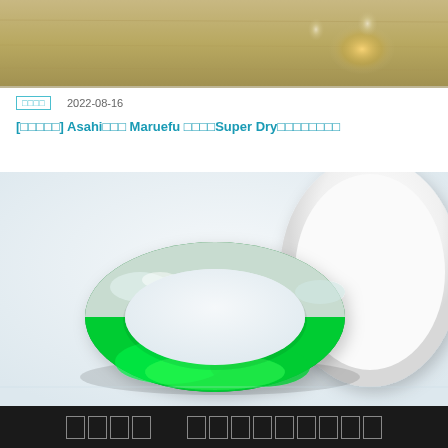[Figure (photo): Top partial image showing a warm-toned background with blurred glass/bottle objects on a wooden surface]
□□□□  2022-08-16
[□□□□□] Asahi□□□ Maruefu □□□□Super Dry□□□□□□□□
[Figure (photo): Green jade bangle/bracelet with white/translucent sections, placed on white background next to a white plate]
□□□□  □□□□□□□□□